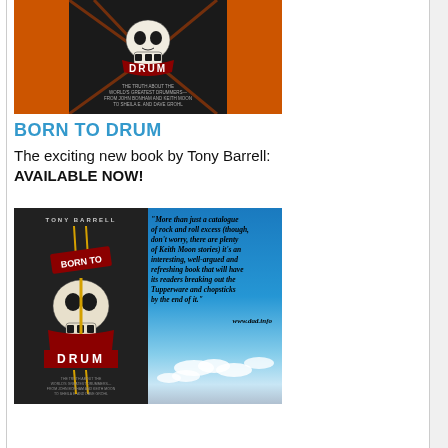[Figure (photo): Book cover of 'Drum: The Truth About the World's Greatest Drummers — From John Bonham and Keith Moon to Sheila E. and Dave Grohl' by Tony Barrell, showing a skull with a banner reading DRUM against a dark background with orange/flame sides]
BORN TO DRUM
The exciting new book by Tony Barrell: AVAILABLE NOW!
[Figure (photo): Composite image: left half shows book cover of 'Born to Drum' by Tony Barrell with skull and dark wood background; right half shows blue sky with quote: "More than just a catalogue of rock and roll excess (though, don't worry, there are plenty of Keith Moon stories) it's an interesting, well-argued and refreshing book that will have its readers breaking out the Tupperware and chopsticks by the end of it." www.dad.info]